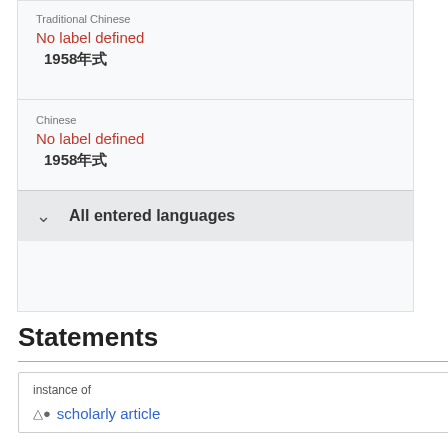Traditional Chinese
No label defined
1958年式
Chinese
No label defined
1958年式
All entered languages
Statements
instance of
scholarly article